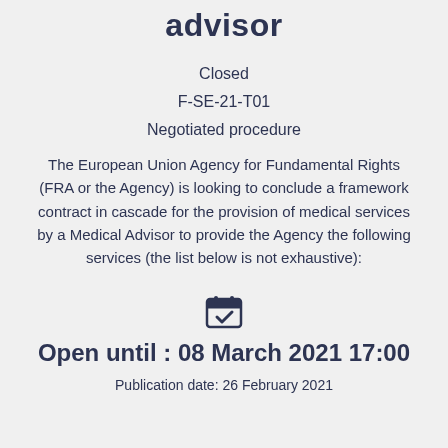advisor
Closed
F-SE-21-T01
Negotiated procedure
The European Union Agency for Fundamental Rights (FRA or the Agency) is looking to conclude a framework contract in cascade for the provision of medical services by a Medical Advisor to provide the Agency the following services (the list below is not exhaustive):
[Figure (illustration): Calendar icon with a checkmark]
Open until : 08 March 2021 17:00
Publication date: 26 February 2021